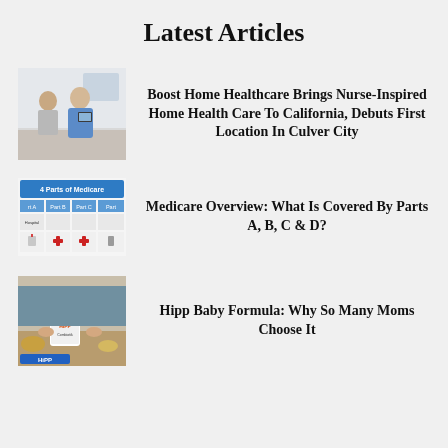Latest Articles
[Figure (photo): Healthcare worker with patient, nurse in blue scrubs holding a tablet]
Boost Home Healthcare Brings Nurse-Inspired Home Health Care To California, Debuts First Location In Culver City
[Figure (infographic): 4 Parts of Medicare infographic showing Part A, Part B, Part C, Part D with icons]
Medicare Overview: What Is Covered By Parts A, B, C & D?
[Figure (photo): Person holding Hipp baby formula tin with food items on table]
Hipp Baby Formula: Why So Many Moms Choose It